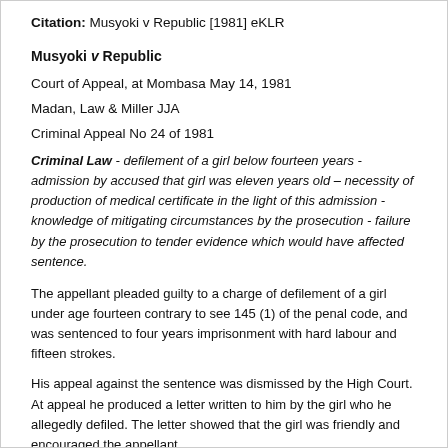Citation: Musyoki v Republic [1981] eKLR
Musyoki v Republic
Court of Appeal, at Mombasa May 14, 1981
Madan, Law & Miller JJA
Criminal Appeal No 24 of 1981
Criminal Law - defilement of a girl below fourteen years - admission by accused that girl was eleven years old – necessity of production of medical certificate in the light of this admission - knowledge of mitigating circumstances by the prosecution - failure by the prosecution to tender evidence which would have affected sentence.
The appellant pleaded guilty to a charge of defilement of a girl under age fourteen contrary to see 145 (1) of the penal code, and was sentenced to four years imprisonment with hard labour and fifteen strokes.
His appeal against the sentence was dismissed by the High Court. At appeal he produced a letter written to him by the girl who he allegedly defiled. The letter showed that the girl was friendly and encouraged the appellant.